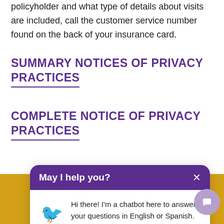policyholder and what type of details about visits are included, call the customer service number found on the back of your insurance card.
SUMMARY NOTICES OF PRIVACY PRACTICES
COMPLETE NOTICE OF PRIVACY PRACTICES
[Figure (screenshot): Chat popup with purple header 'May I help you?' and close X button. Chatbot avatar (bird mascot emoji) with message: 'Hi there! I'm a chatbot here to answer your questions in English or Spanish. What would you like to know?']
[Figure (illustration): Yellow/gold decorative background strip at bottom of page with partial bird/eagle illustration. Purple circular chat button icon at bottom right.]